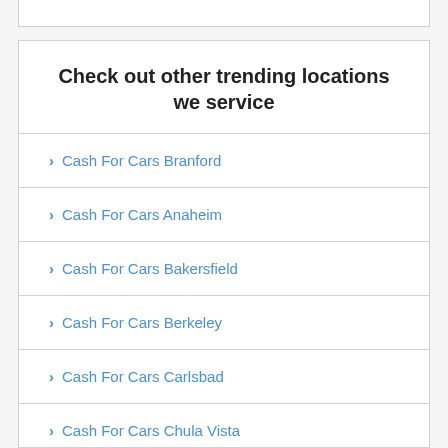Check out other trending locations we service
Cash For Cars Branford
Cash For Cars Anaheim
Cash For Cars Bakersfield
Cash For Cars Berkeley
Cash For Cars Carlsbad
Cash For Cars Chula Vista